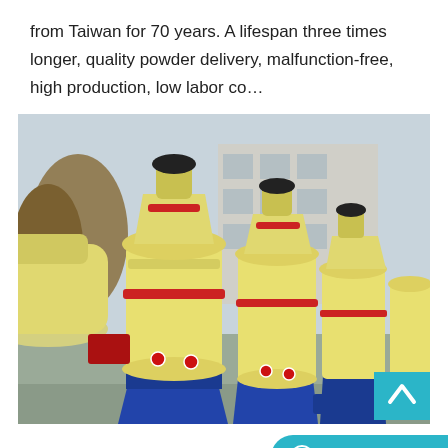from Taiwan for 70 years. A lifespan three times longer, quality powder delivery, malfunction-free, high production, low labor co…
[Figure (photo): Outdoor photograph showing a row of large yellow industrial grinding/milling machines with blue bases and red accents, lined up in a factory yard with a building and trees visible in the background.]